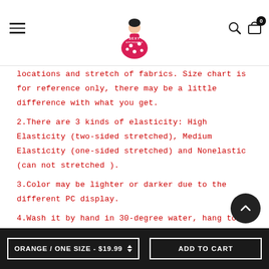Sexy Affordable — logo header with hamburger menu, search, and cart (0)
locations and stretch of fabrics. Size chart is for reference only, there may be a little difference with what you get.
2.There are 3 kinds of elasticity: High Elasticity (two-sided stretched), Medium Elasticity (one-sided stretched) and Nonelastic (can not stretched ).
3.Color may be lighter or darker due to the different PC display.
4.Wash it by hand in 30-degree water, hang to dry in shade, prohibit bleaching.
5.There maybe a slightly difference on detail and pattern of this clothes.
ORANGE / ONE SIZE - $19.99 ▲▼   ADD TO CART